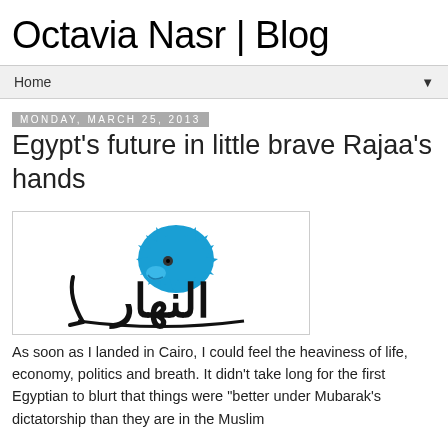Octavia Nasr | Blog
Home
Monday, March 25, 2013
Egypt's future in little brave Rajaa's hands
[Figure (logo): An-Nahar newspaper Arabic logo with blue lion illustration]
As soon as I landed in Cairo, I could feel the heaviness of life, economy, politics and breath. It didn't take long for the first Egyptian to blurt that things were "better under Mubarak's dictatorship than they are in the Muslim